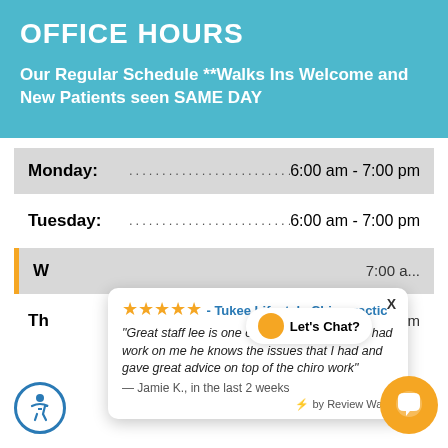OFFICE HOURS
Our Regular Schedule **Walks Ins Welcome and New Patients seen SAME DAY
| Day | Hours |
| --- | --- |
| Monday: | 6:00 am - 7:00 pm |
| Tuesday: | 6:00 am - 7:00 pm |
| Wednesday: | 7:00 am - ... |
| Thursday: | 7:00 am - 2:00 pm |
★★★★★ - Tukee Lifestyle Chiropractic
"Great staff lee is one of the best chiros ever had work on me he knows the issues that I had and gave great advice on top of the chiro work"
— Jamie K., in the last 2 weeks
⚡ by Review Wave